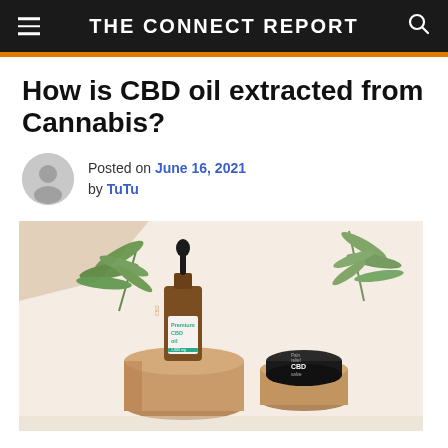THE CONNECT REPORT
How is CBD oil extracted from Cannabis?
Posted on June 16, 2021 by TuTu
[Figure (photo): CBD oil dropper bottle labeled 'Premium CBD oil 1000mg' and a round tin labeled 'Pain relief CBD salve', both placed on wooden pedestals with cannabis leaves in the background.]